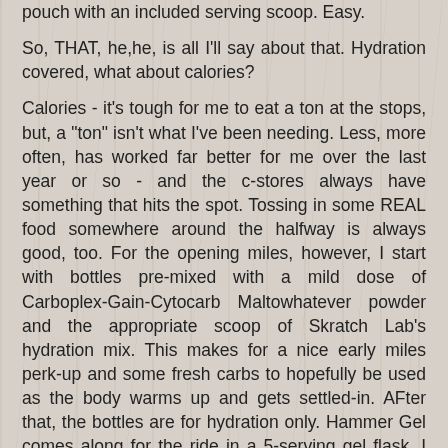pouch with an included serving scoop.  Easy.
So, THAT, he,he, is all I'll say about that.  Hydration covered, what about calories?
Calories - it's tough for me to eat a ton at the stops, but, a "ton" isn't what I've been needing.  Less, more often, has worked far better for me over the last year or so - and the c-stores always have something that hits the spot.  Tossing in some REAL food somewhere around the halfway is always good, too.  For the opening miles, however, I start with bottles pre-mixed with a mild dose of Carboplex-Gain-Cytocarb Maltowhatever powder and the appropriate scoop of Skratch Lab's hydration mix.  This makes for a nice early miles perk-up and some fresh carbs to hopefully be used as the body warms up and gets settled-in.  AFter that, the bottles are for hydration only.  Hammer Gel comes along for the ride in a 5-serving gel flask.  I still love the Hammer guys, and their focus on great endurance nutrition; and, pound for pound, their large bottles of Hammer Gel are an inexpensive and effective way for me to get the calories I need while riding.  One serving lasts about an hour - that's all I usually